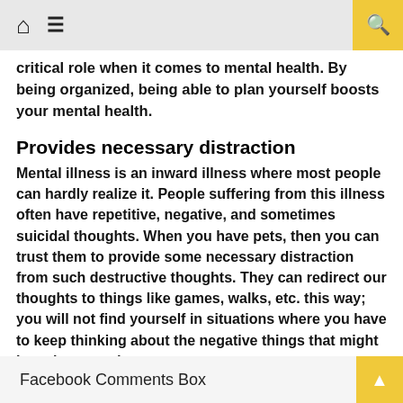Home Menu Search
critical role when it comes to mental health. By being organized, being able to plan yourself boosts your mental health.
Provides necessary distraction
Mental illness is an inward illness where most people can hardly realize it. People suffering from this illness often have repetitive, negative, and sometimes suicidal thoughts. When you have pets, then you can trust them to provide some necessary distraction from such destructive thoughts. They can redirect our thoughts to things like games, walks, etc. this way; you will not find yourself in situations where you have to keep thinking about the negative things that might have happened to you.
Facebook Comments Box